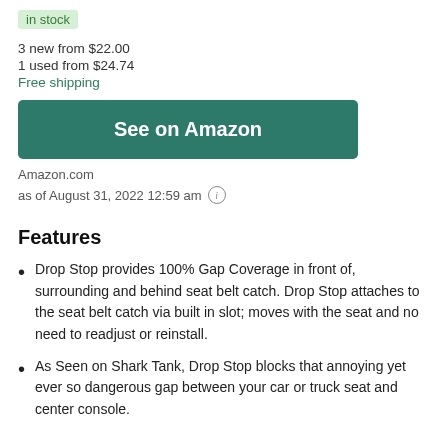in stock
3 new from $22.00
1 used from $24.74
Free shipping
See on Amazon
Amazon.com
as of August 31, 2022 12:59 am
Features
Drop Stop provides 100% Gap Coverage in front of, surrounding and behind seat belt catch. Drop Stop attaches to the seat belt catch via built in slot; moves with the seat and no need to readjust or reinstall.
As Seen on Shark Tank, Drop Stop blocks that annoying yet ever so dangerous gap between your car or truck seat and center console.